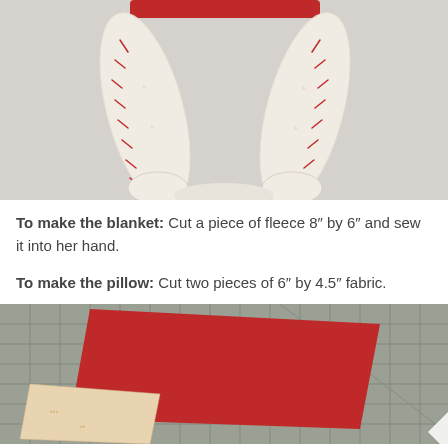[Figure (photo): Photo of a stuffed doll's legs and feet, white fabric with red stitching, viewed from below on a white background]
To make the blanket: Cut a piece of fleece 8″ by 6″ and sew it into her hand.
To make the pillow: Cut two pieces of 6″ by 4.5″ fabric.
[Figure (photo): Photo of red fabric pieces on a cutting mat with measurements, alongside a patterned fabric piece]